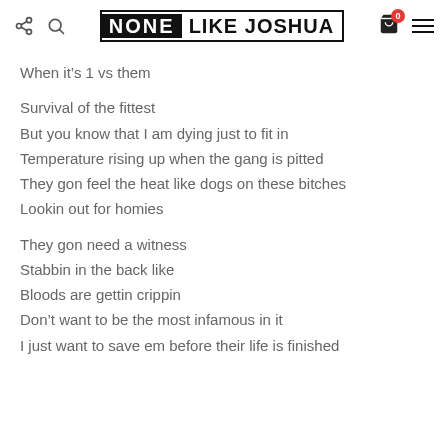NONE LIKE JOSHUA — website header with share, search, cart (0), and hamburger menu icons
When it's 1 vs them
Survival of the fittest
But you know that I am dying just to fit in
Temperature rising up when the gang is pitted
They gon feel the heat like dogs on these bitches
Lookin out for homies
They gon need a witness
Stabbin in the back like
Bloods are gettin crippin
Don't want to be the most infamous in it
I just want to save em before their life is finished